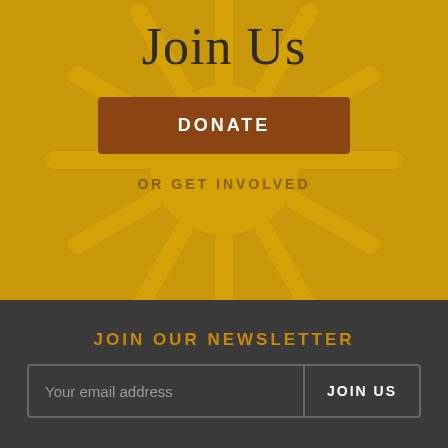Join Us
DONATE
OR GET INVOLVED
JOIN OUR NEWSLETTER
Your email address
JOIN US